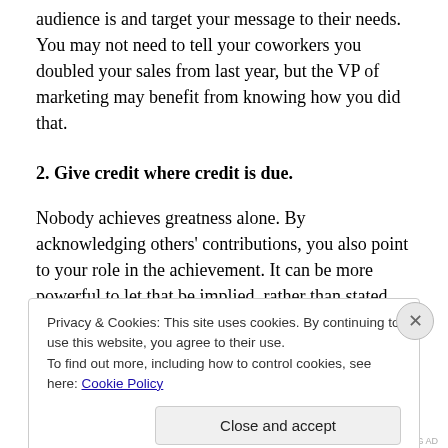audience is and target your message to their needs. You may not need to tell your coworkers you doubled your sales from last year, but the VP of marketing may benefit from knowing how you did that.
2. Give credit where credit is due.
Nobody achieves greatness alone. By acknowledging others' contributions, you also point to your role in the achievement. It can be more powerful to let that be implied, rather than stated outright. No harm in making that acknowledgement in front of your boss, though. Read
Privacy & Cookies: This site uses cookies. By continuing to use this website, you agree to their use.
To find out more, including how to control cookies, see here: Cookie Policy
Close and accept